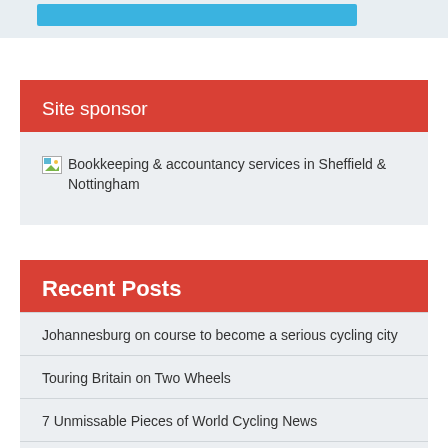[Figure (other): Blue horizontal bar element at top of page on light grey background]
Site sponsor
[Figure (other): Broken image placeholder with alt text: Bookkeeping & accountancy services in Sheffield & Nottingham]
Recent Posts
Johannesburg on course to become a serious cycling city
Touring Britain on Two Wheels
7 Unmissable Pieces of World Cycling News
'Bring Your Bike to Longshaw Cycling Day' + Exclusive